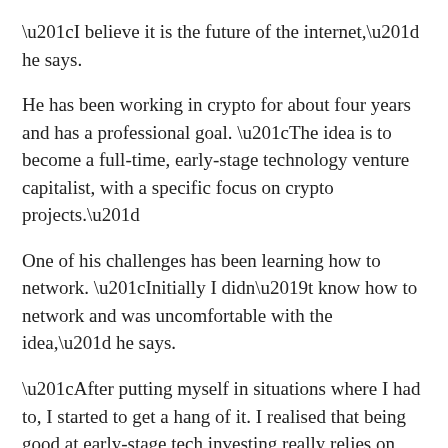“I believe it is the future of the internet,” he says.
He has been working in crypto for about four years and has a professional goal. “The idea is to become a full-time, early-stage technology venture capitalist, with a specific focus on crypto projects.”
One of his challenges has been learning how to network. “Initially I didn’t know how to network and was uncomfortable with the idea,” he says.
“After putting myself in situations where I had to, I started to get a hang of it. I realised that being good at early-stage tech investing really relies on building authentic relationships and meeting great people doing great things.”
Listen to his podcast here.